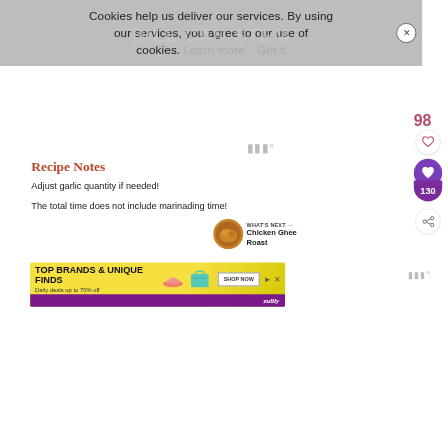Cookies help us deliver our services. By using our services, you agree to our use of cookies. Learn more  Got it
[Figure (screenshot): Cookie consent banner overlay with close X button]
98
[Figure (illustration): Heart icon outline button (white circle)]
[Figure (illustration): Heart icon filled button (purple circle) with count 130 below]
[Figure (illustration): Share icon button (white circle)]
Recipe Notes
Adjust garlic quantity if needed!
The total time does not include marinading time!
WHAT'S NEXT → Chicken Ghee Roast
[Figure (photo): Thumbnail photo of Chicken Ghee Roast dish]
[Figure (screenshot): Advertisement banner: TOP BRANDS & UNIQUE FINDS, Daily deals up to 70% off, SHOP NOW button, zulily branding]